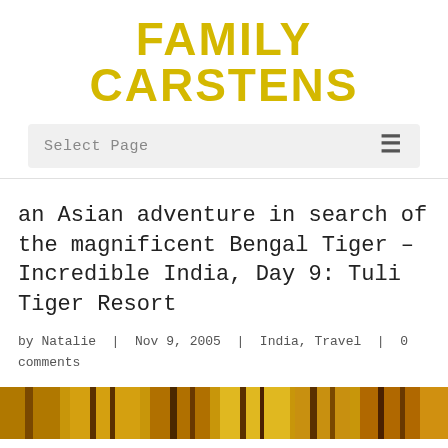FAMILY CARSTENS
Select Page
an Asian adventure in search of the magnificent Bengal Tiger – Incredible India, Day 9: Tuli Tiger Resort
by Natalie | Nov 9, 2005 | India, Travel | 0 comments
[Figure (photo): Partial view of a tiger photo strip at the bottom of the page]